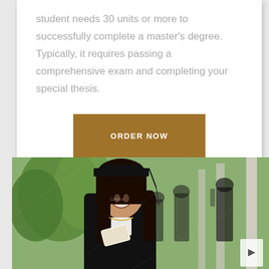student needs 30 units or more to successfully complete a master's degree. Typically, it requires passing a comprehensive exam and completing your special thesis.
[Figure (other): A brown/tan rectangular button with white uppercase text reading 'ORDER NOW']
[Figure (photo): A smiling female graduate in black cap and gown holding a diploma, with other graduates in the background near white columns and green trees. A watermark 'Canlius' is faintly visible.]